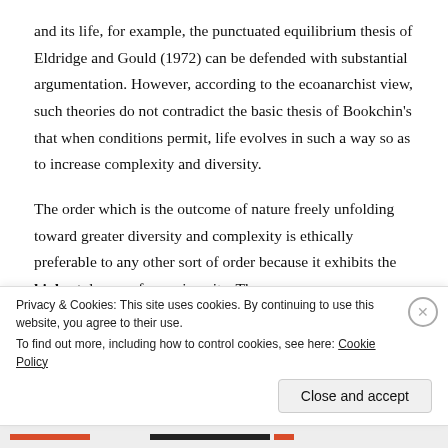and its life, for example, the punctuated equilibrium thesis of Eldridge and Gould (1972) can be defended with substantial argumentation.  However, according to the ecoanarchist view, such theories do not contradict the basic thesis of Bookchin's that when conditions permit, life evolves in such a way so as to increase complexity and diversity.
The order which is the outcome of nature freely unfolding toward greater diversity and complexity is ethically preferable to any other sort of order because it exhibits the highest degree of organic unity. The more
Privacy & Cookies: This site uses cookies. By continuing to use this website, you agree to their use.
To find out more, including how to control cookies, see here: Cookie Policy